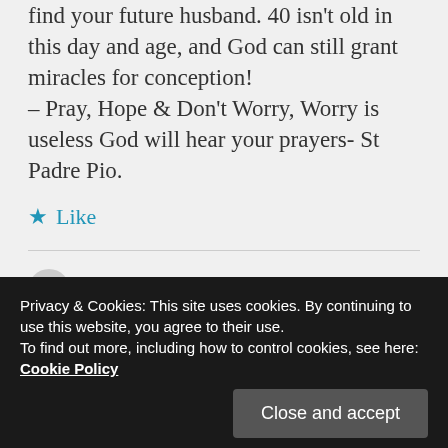find your future husband. 40 isn't old in this day and age, and God can still grant miracles for conception!
– Pray, Hope & Don't Worry, Worry is useless God will hear your prayers- St Padre Pio.
★ Like
admin on January 17, 2022 at 4:47 pm
vocation and in this case, you are
Privacy & Cookies: This site uses cookies. By continuing to use this website, you agree to their use.
To find out more, including how to control cookies, see here: Cookie Policy
Close and accept